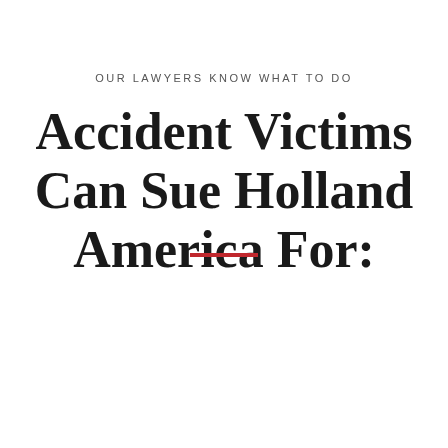OUR LAWYERS KNOW WHAT TO DO
Accident Victims Can Sue Holland America For:
[Figure (other): Red horizontal rule / decorative divider line]